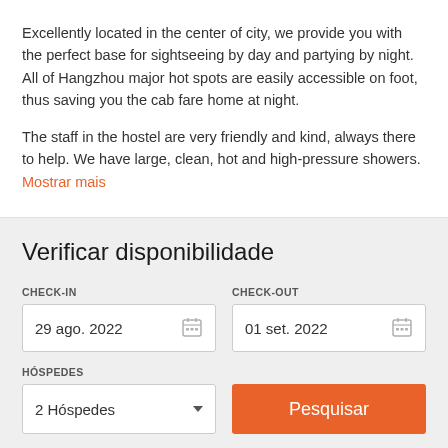Excellently located in the center of city, we provide you with the perfect base for sightseeing by day and partying by night. All of Hangzhou major hot spots are easily accessible on foot, thus saving you the cab fare home at night.
The staff in the hostel are very friendly and kind, always there to help. We have large, clean, hot and high-pressure showers.
Mostrar mais
Verificar disponibilidade
CHECK-IN
29 ago. 2022
CHECK-OUT
01 set. 2022
HÓSPEDES
2 Hóspedes
Pesquisar